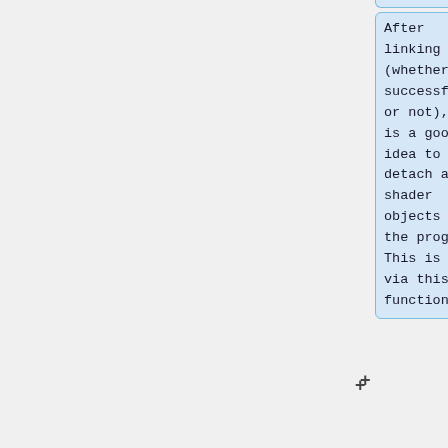After linking (whether successfully or not), it is a good idea to detach all shader objects from the program. This is done via this function:
If you do